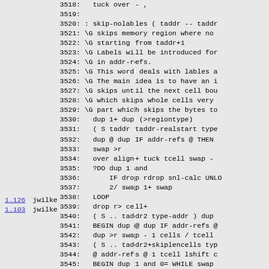Code listing lines 3518-3548 with Forth source code for skip-nolables word
1.126 jwilke (sidebar link)
1.103 jwilke (sidebar link)